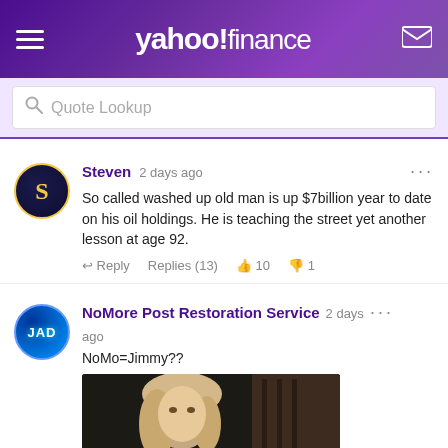yahoo! finance
Quote Lookup
Steven 2 days ago
So called washed up old man is up $7billion year to date on his oil holdings. He is teaching the street yet another lesson at age 92.
Reply Replies (13) 10 1
NoMore Post Restoration Service 2 days ago
NoMo=Jimmy??
[Figure (photo): A meme image of a blonde woman with caption text reading PEOPLE REFUSE TO CALL]